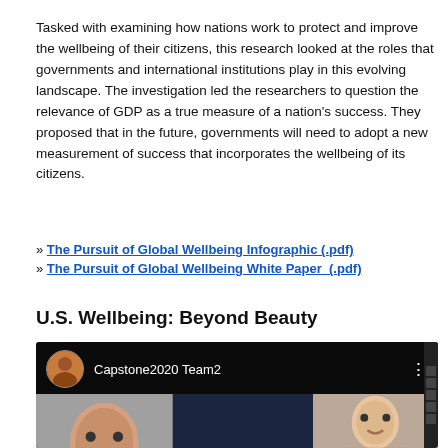Tasked with examining how nations work to protect and improve the wellbeing of their citizens, this research looked at the roles that governments and international institutions play in this evolving landscape. The investigation led the researchers to question the relevance of GDP as a true measure of a nation's success. They proposed that in the future, governments will need to adopt a new measurement of success that incorporates the wellbeing of its citizens.
» The Pursuit of Global Wellbeing Infographic (.pdf)
» The Pursuit of Global Wellbeing White Paper  (.pdf)
U.S. Wellbeing: Beyond Beauty
[Figure (screenshot): Video thumbnail showing 'Capstone2020 Team2' YouTube-style video. Contains a person's face on the left, a dark blue panel in center reading 'BEYOND TOPICAL', a face in the upper right panel, and a dark panel lower right with text 'DISMANTLE' partially visible. A vertical filmstrip bar is on the far right.]